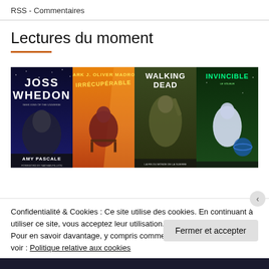RSS - Commentaires
Lectures du moment
[Figure (photo): Four comic book / graphic novel covers side by side: Joss Whedon Geek King of the Universe by Amy Pascale; Irrécupérable; Walking Dead; Invincible]
Confidentialité & Cookies : Ce site utilise des cookies. En continuant à utiliser ce site, vous acceptez leur utilisation.
Pour en savoir davantage, y compris comment contrôler les cookies, voir : Politique relative aux cookies
Fermer et accepter